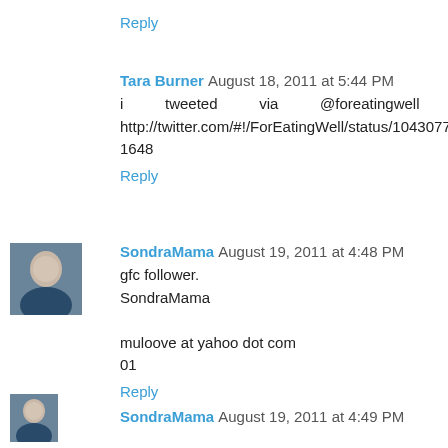Reply
Tara Burner  August 18, 2011 at 5:44 PM
i tweeted via @foreatingwell at http://twitter.com/#!/ForEatingWell/status/104307702716571648
Reply
SondraMama  August 19, 2011 at 4:48 PM
gfc follower.
SondraMama

muloove at yahoo dot com
01
Reply
SondraMama  August 19, 2011 at 4:49 PM